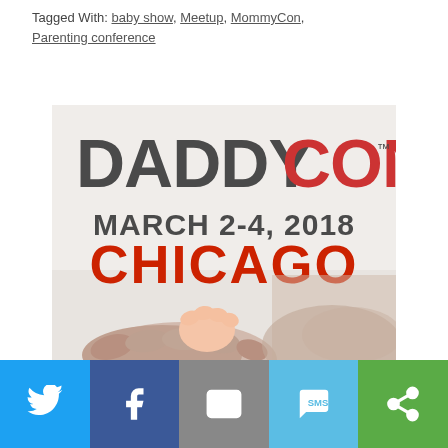Tagged With: baby show, Meetup, MommyCon, Parenting conference
[Figure (illustration): DaddyCon event poster showing 'DADDYCON' in large text, 'MARCH 2-4, 2018' below, 'CHICAGO' in red, and a photo of an adult hand holding a baby's hand at the bottom.]
Social share bar with Twitter, Facebook, Email, SMS, and other sharing buttons